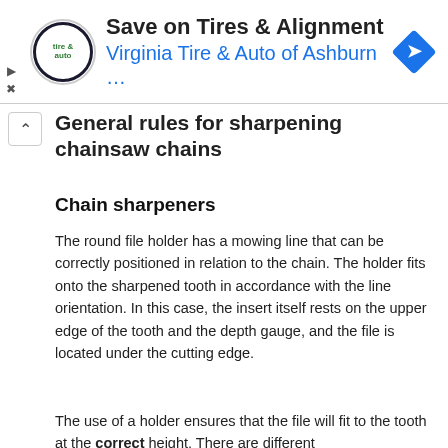[Figure (other): Advertisement banner for Virginia Tire & Auto of Ashburn with logo, title 'Save on Tires & Alignment', subtitle 'Virginia Tire & Auto of Ashburn …', and a blue diamond navigation icon.]
General rules for sharpening chainsaw chains
Chain sharpeners
The round file holder has a mowing line that can be correctly positioned in relation to the chain. The holder fits onto the sharpened tooth in accordance with the line orientation. In this case, the insert itself rests on the upper edge of the tooth and the depth gauge, and the file is located under the cutting edge.
The use of a holder ensures that the file will fit to the tooth at the correct height. There are different